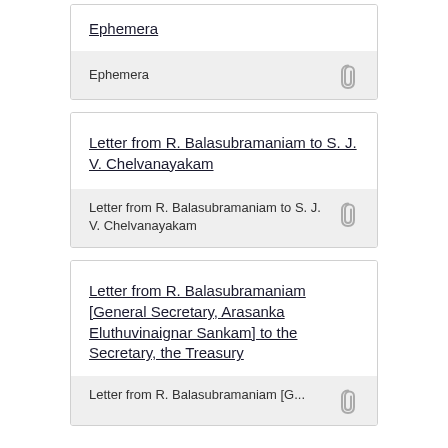Ephemera
Ephemera
Letter from R. Balasubramaniam to S. J. V. Chelvanayakam
Letter from R. Balasubramaniam to S. J. V. Chelvanayakam
Letter from R. Balasubramaniam [General Secretary, Arasanka Eluthuvinaignar Sankam] to the Secretary, the Treasury
Letter from R. Balasubramaniam [General Secretary, Arasanka Eluthuvinaignar Sankam] to the Secretary, the Treasury